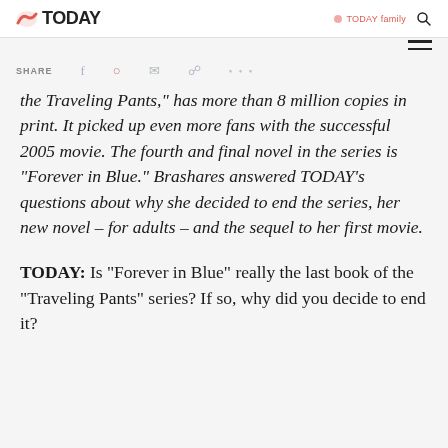TODAY / TODAY Family
the Traveling Pants," has more than 8 million copies in print. It picked up even more fans with the successful 2005 movie. The fourth and final novel in the series is "Forever in Blue." Brashares answered TODAY’s questions about why she decided to end the series, her new novel – for adults – and the sequel to her first movie.
TODAY: Is “Forever in Blue” really the last book of the “Traveling Pants” series? If so, why did you decide to end it?